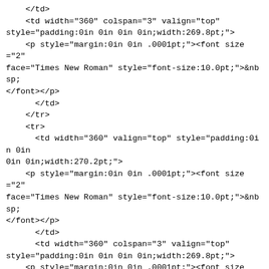</td>
    <td width="360" colspan="3" valign="top"
style="padding:0in 0in 0in 0in;width:269.8pt;">
    <p style="margin:0in 0in .0001pt;"><font size="2"
face="Times New Roman" style="font-size:10.0pt;">&nbsp;
</font></p>
      </td>
    </tr>
    <tr>
      <td width="360" valign="top" style="padding:0in 0in
0in 0in;width:270.2pt;">
    <p style="margin:0in 0in .0001pt;"><font size="2"
face="Times New Roman" style="font-size:10.0pt;">&nbsp;
</font></p>
      </td>
      <td width="360" colspan="3" valign="top"
style="padding:0in 0in 0in 0in;width:269.8pt;">
    <p style="margin:0in 0in .0001pt;"><font size="2"
face="Times New Roman" style="font-size:10.0pt;">&nbsp;
</font></p>
      </td>
    </tr>
    <tr>
      <td width="360" valign="top" style="padding:0in 0in
0in 0in;width:270.2pt;">
    <p style="margin:0in 0in .0001pt;"><font size="2"
face="Times New Roman" style="font-size:1.0pt;">&nbsp;
</font></p>
      </td>
      <td width="219" colspan="2" valign="top"